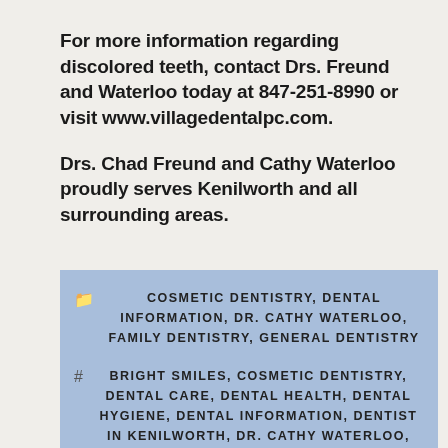For more information regarding discolored teeth, contact Drs. Freund and Waterloo today at 847-251-8990 or visit www.villagedentalpc.com.
Drs. Chad Freund and Cathy Waterloo proudly serves Kenilworth and all surrounding areas.
COSMETIC DENTISTRY, DENTAL INFORMATION, DR. CATHY WATERLOO, FAMILY DENTISTRY, GENERAL DENTISTRY
BRIGHT SMILES, COSMETIC DENTISTRY, DENTAL CARE, DENTAL HEALTH, DENTAL HYGIENE, DENTAL INFORMATION, DENTIST IN KENILWORTH, DR. CATHY WATERLOO, DR. WATERLOO, FAMILY DENTISTRY, GENERAL DENTISTRY, KENILWORTH DENTIST, KENILWORTH IL, RESTORATIVE DENTISTRY, SMILE MAKEOVER, STAINED TEETH, TEETH